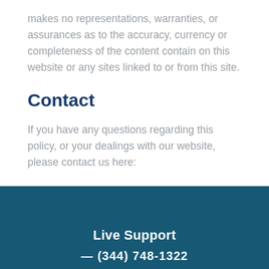makes no representations, warranties, or assurances as to the accuracy, currency or completeness of the content contain on this website or any sites linked to or from this site.
Contact
If you have any questions regarding this policy, or your dealings with our website, please contact us here:
Live Support